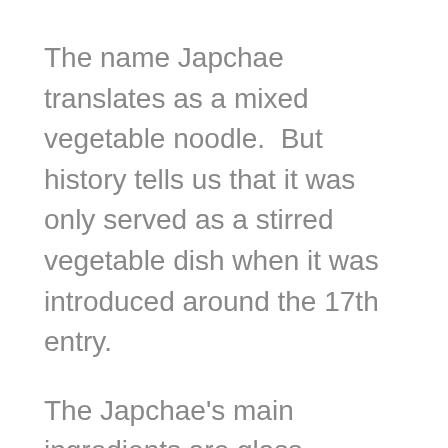The name Japchae translates as a mixed vegetable noodle.  But history tells us that it was only served as a stirred vegetable dish when it was introduced around the 17th entry.
The Japchae's main ingredients are glass noodles that are made from sweet potatoes.  It usually served as a side dish but it can be served and mixed with a bowl of rice to make the main dish too.
Just like most Korean dishes, preparing for japchae is a lot similar to making bibimbap.  It normally contains meat, vegetable, and noodle.  You can stir or cook all of the ingredients at